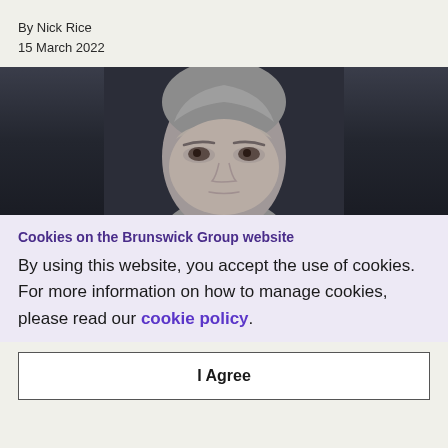By Nick Rice
15 March 2022
[Figure (photo): Cropped photo of a grey-haired man looking upward against a dark grey background, showing head and upper face only]
Cookies on the Brunswick Group website
By using this website, you accept the use of cookies. For more information on how to manage cookies, please read our cookie policy.
I Agree